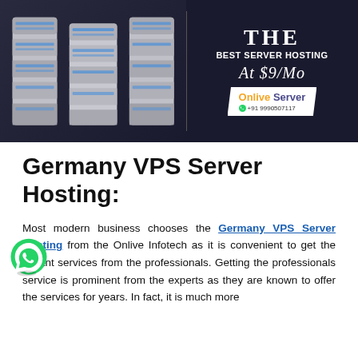[Figure (illustration): Advertisement banner for server hosting showing three metallic server towers on a dark background with text 'THE Best Server Hosting At $9/Mo' and Onlive Server branding with phone number +91 9990507117]
Germany VPS Server Hosting:
Most modern business chooses the Germany VPS Server Hosting from the Onlive Infotech as it is convenient to get the instant services from the professionals. Getting the professionals service is prominent from the experts as they are known to offer the services for years. In fact, it is much more